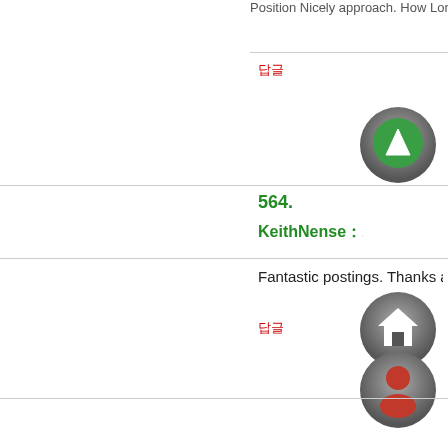Position Nicely approach. How Long
답글
[Figure (illustration): Green circle avatar with upward triangle/play button icon]
564.
KeithNense : 2020년4월18일 PM 14:4
[Figure (illustration): Gray circle avatar with house/home icon]
Fantastic postings. Thanks a lot! ca
답글
[Figure (illustration): Gray circle avatar with red person/user icon]
565.
KeithNense : 2020년4월19일 PM 20:0
[Figure (illustration): Gray circle avatar with store/shop icon]
This is nicely expressed. . canada p
[Figure (illustration): Gray circle avatar with yellow star and plus icon]
답글